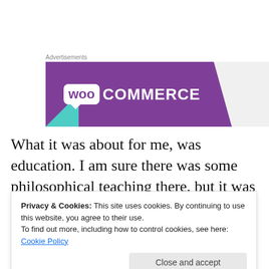Advertisements
[Figure (logo): WooCommerce advertisement banner with purple diagonal shape, teal triangle accent, and WooCommerce logo in white on purple background with grey area on right.]
What it was about for me, was education. I am sure there was some philosophical teaching there, but it was mostly a walk through of the Bible stories – all of them, not just the
Privacy & Cookies: This site uses cookies. By continuing to use this website, you agree to their use.
To find out more, including how to control cookies, see here: Cookie Policy
understood that the Bible was not a rule book, but an